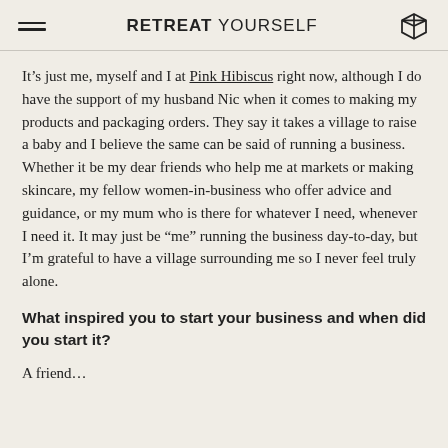RETREAT YOURSELF
It’s just me, myself and I at Pink Hibiscus right now, although I do have the support of my husband Nic when it comes to making my products and packaging orders. They say it takes a village to raise a baby and I believe the same can be said of running a business. Whether it be my dear friends who help me at markets or making skincare, my fellow women-in-business who offer advice and guidance, or my mum who is there for whatever I need, whenever I need it. It may just be “me” running the business day-to-day, but I’m grateful to have a village surrounding me so I never feel truly alone.
What inspired you to start your business and when did you start it?
A friend… (partial text, cut off)